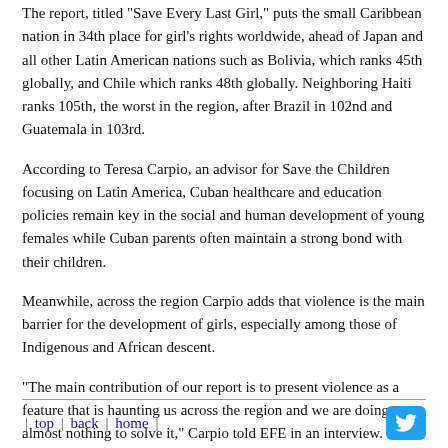The report, titled "Save Every Last Girl," puts the small Caribbean nation in 34th place for girl's rights worldwide, ahead of Japan and all other Latin American nations such as Bolivia, which ranks 45th globally, and Chile which ranks 48th globally. Neighboring Haiti ranks 105th, the worst in the region, after Brazil in 102nd and Guatemala in 103rd.
According to Teresa Carpio, an advisor for Save the Children focusing on Latin America, Cuban healthcare and education policies remain key in the social and human development of young females while Cuban parents often maintain a strong bond with their children.
Meanwhile, across the region Carpio adds that violence is the main barrier for the development of girls, especially among those of Indigenous and African descent.
"The main contribution of our report is to present violence as a feature that is haunting us across the region and we are doing almost nothing to solve it," Carpio told EFE in an interview.
Save the Children's index is led by Sweden, Finland and Norway, with the Central African Republic, Chad and Niger ranking worst for girl's rights.
| top | back | home |